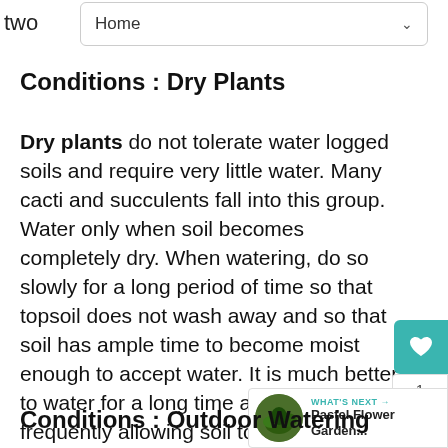twa  Home
Conditions : Dry Plants
Dry plants do not tolerate water logged soils and require very little water. Many cacti and succulents fall into this group. Water only when soil becomes completely dry. When watering, do so slowly for a long period of time so that topsoil does not wash away and so that soil has ample time to become moist enough to accept water. It is much better to water for a long time and less frequently allowing soil to dry out completely between watering
Conditions : Outdoor Watering